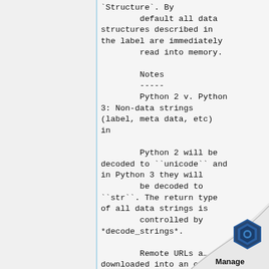`Structure`. By
        default all data structures described in
        the label are immediately
        read into memory.

        Notes
        -----
        Python 2 v. Python 3: Non-data strings (label, meta data, etc) in

        Python 2 will be decoded to ``unicode`` and in Python 3 they will
        be decoded to
``str``. The return type of all data strings is
        controlled by *decode_strings*.

        Remote URLs are downloaded into an on-disk
        cache which is cleared
[Figure (logo): Page curl effect in the bottom-right corner with a dark blue hexagonal gear logo and 'Manage' text below it]